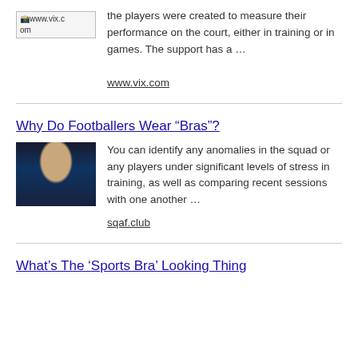[Figure (photo): Broken image placeholder showing www.vix.com]
the players were created to measure their performance on the court, either in training or in games. The support has a …
www.vix.com
Why Do Footballers Wear “Bras”?
[Figure (photo): Photo of a male footballer wearing a black sports vest/bra, running on a track]
You can identify any anomalies in the squad or any players under significant levels of stress in training, as well as comparing recent sessions with one another …
sqaf.club
What’s The ‘Sports Bra’ Looking Thing